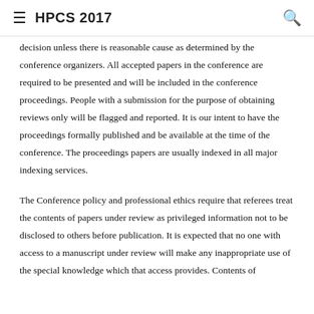HPCS 2017
decision unless there is reasonable cause as determined by the conference organizers. All accepted papers in the conference are required to be presented and will be included in the conference proceedings. People with a submission for the purpose of obtaining reviews only will be flagged and reported. It is our intent to have the proceedings formally published and be available at the time of the conference. The proceedings papers are usually indexed in all major indexing services.
The Conference policy and professional ethics require that referees treat the contents of papers under review as privileged information not to be disclosed to others before publication. It is expected that no one with access to a manuscript under review will make any inappropriate use of the special knowledge which that access provides. Contents of